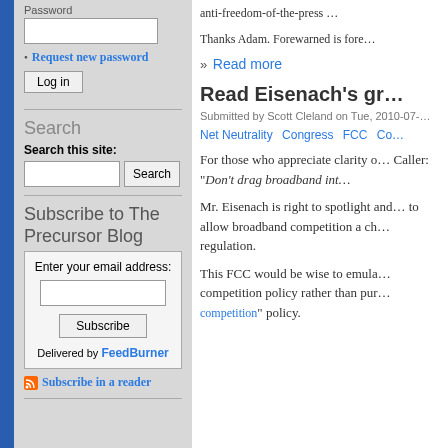Password input field
Request new password
Log in button
Search
Search this site:
Subscribe to The Precursor Blog
Enter your email address: [input] Subscribe Delivered by FeedBurner
Subscribe in a reader
anti-freedom-of-the-press …
Thanks Adam. Forewarned is fore…
» Read more
Read Eisenach's gr…
Submitted by Scott Cleland on Tue, 2010-07-…
Net Neutrality   Congress   FCC   Co…
For those who appreciate clarity o… Caller: "Don't drag broadband int…
Mr. Eisenach is right to spotlight and… to allow broadband competition a ch… regulation.
This FCC would be wise to emula… competition policy rather than pur… competition" policy.